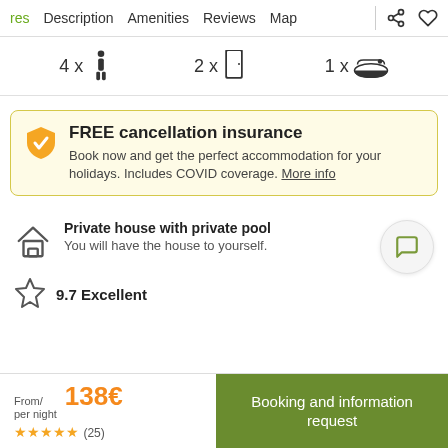res  Description  Amenities  Reviews  Map
4 x [person icon]   2 x [door icon]   1 x [bathtub icon]
FREE cancellation insurance
Book now and get the perfect accommodation for your holidays. Includes COVID coverage. More info
Private house with private pool
You will have the house to yourself.
9.7 Excellent
From/ per night  138€
★★★★★ (25)
Booking and information request